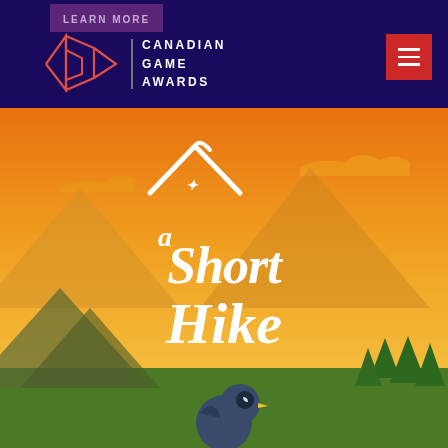[Figure (logo): Canadian Game Awards logo with geometric diamond/arrow shapes in coral/orange outline on dark navy background, with text CANADIAN GAME AWARDS]
[Figure (screenshot): A Short Hike game promotional image showing the game logo in white cursive text over an orange/yellow sunset background with mountains, trees, and a cartoon bird character at the bottom]